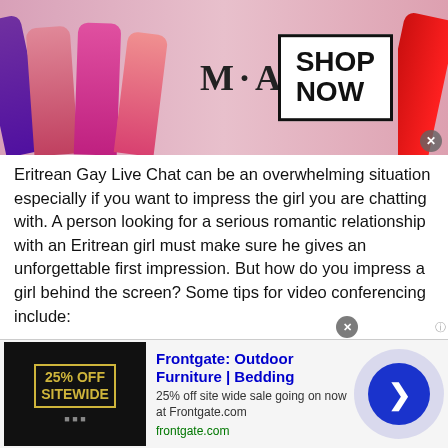[Figure (photo): MAC cosmetics advertisement banner with colorful lipsticks on the left, MAC logo in center, and SHOP NOW button in a box on the right]
Eritrean Gay Live Chat can be an overwhelming situation especially if you want to impress the girl you are chatting with. A person looking for a serious romantic relationship with an Eritrean girl must make sure he gives an unforgettable first impression. But how do you impress a girl behind the screen? Some tips for video conferencing include:
Find an Ideal Location
No one likes a lagging person on a video call. Plus, it will
[Figure (screenshot): Frontgate Outdoor Furniture advertisement with 25% off sitewide sale]
Frontgate: Outdoor Furniture | Bedding
25% off site wide sale going on now at Frontgate.com
frontgate.com